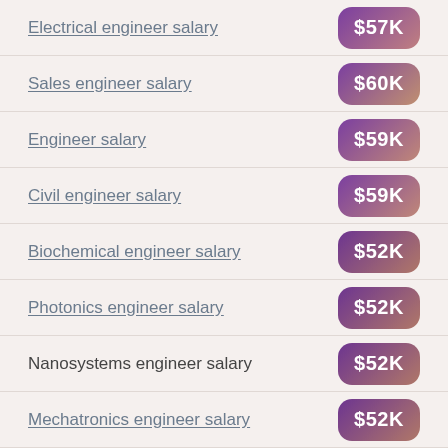Electrical engineer salary
Sales engineer salary
Engineer salary
Civil engineer salary
Biochemical engineer salary
Photonics engineer salary
Nanosystems engineer salary
Mechatronics engineer salary